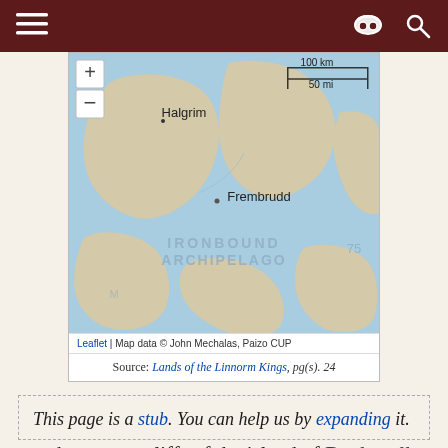≡   [incognito icon] [search icon]
[Figure (map): Interactive Leaflet map showing the Ironbound Archipelago region, with labeled locations Halgrim and Frembrudd, zoom controls (+/-), and a scale bar showing 100 km / 50 mi. Map attribution: Leaflet | Map data © John Mechalas, Paizo CUP. Source: Lands of the Linnorm Kings, pg(s). 24]
Source: Lands of the Linnorm Kings, pg(s). 24
The town of Frembrudd is located on the south-western cliffs of the island of Battlewall in the Linnorm Kingdom of the Ironbound Islands.[1]
This page is a stub. You can help us by expanding it.